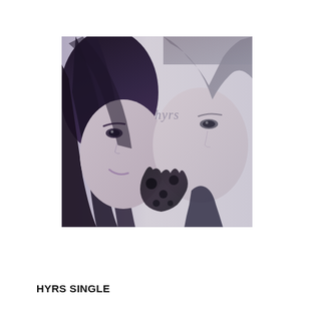[Figure (photo): Album cover for HYRS single: two faces side by side — a woman with dark hair on the left and a man with light hair on the right, desaturated/purple-tinted photo, with the word 'hyrs' written in thin script in the center of the image]
HYRS SINGLE